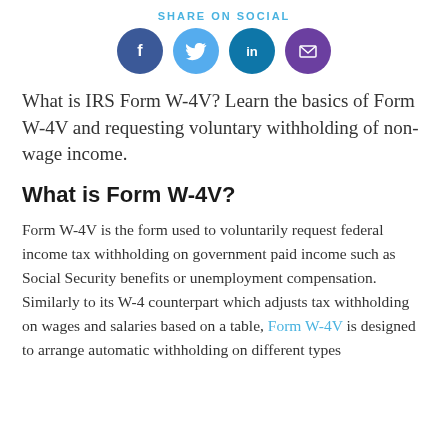SHARE ON SOCIAL
[Figure (illustration): Four social media icon circles: Facebook (dark blue), Twitter (light blue), LinkedIn (teal blue), Email (purple), arranged horizontally]
What is IRS Form W-4V? Learn the basics of Form W-4V and requesting voluntary withholding of non-wage income.
What is Form W-4V?
Form W-4V is the form used to voluntarily request federal income tax withholding on government paid income such as Social Security benefits or unemployment compensation. Similarly to its W-4 counterpart which adjusts tax withholding on wages and salaries based on a table, Form W-4V is designed to arrange automatic withholding on different types